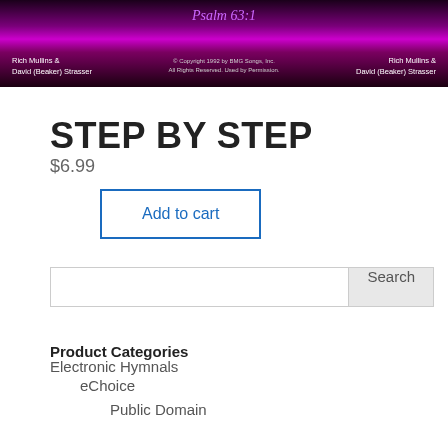[Figure (photo): Dark purple/magenta gradient banner with text 'Psalm 63:1' in the center top, 'Rich Mullins & David (Beaker) Strasser' on left and right, and copyright notice in the center bottom.]
STEP BY STEP
$6.99
Add to cart
Search
Product Categories
Electronic Hymnals
eChoice
Public Domain